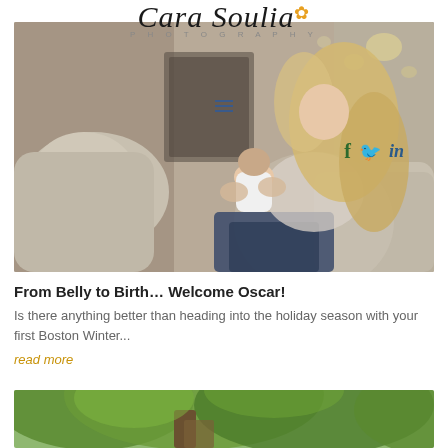Cara Soulia PHOTOGRAPHY
[Figure (photo): Woman with long blonde hair sitting on a couch holding a newborn baby, smiling. Warm indoor living room setting with pillows and bokeh lights in background.]
From Belly to Birth… Welcome Oscar!
Is there anything better than heading into the holiday season with your first Boston Winter...
read more
[Figure (photo): Partial view of outdoor scene with trees and green foliage, partially cropped at bottom of page.]